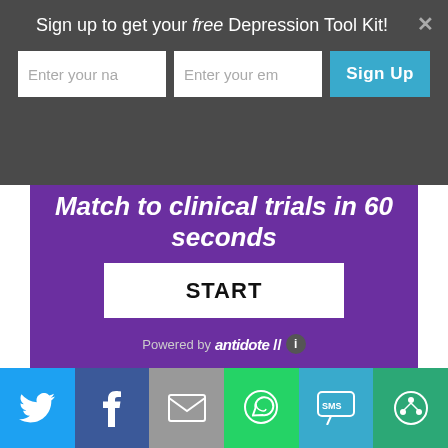Sign up to get your free Depression Tool Kit!
[Figure (screenshot): Sign-up form with name input, email input, and Sign Up button on dark grey background]
[Figure (screenshot): Purple widget showing 'Match to clinical trials in 60 seconds' with START button and Powered by antidote logo]
Meta
[Figure (infographic): Social sharing bar with Twitter, Facebook, Email, WhatsApp, SMS, and share icons]